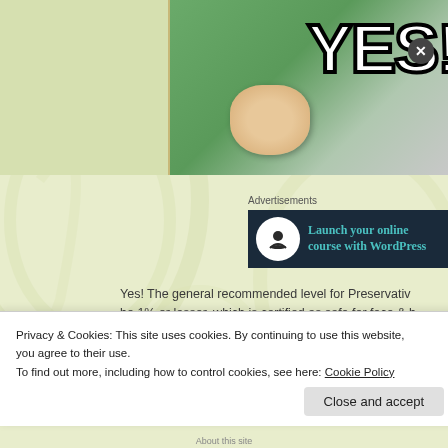[Figure (photo): Meme image of a baby in a green shirt making a fist pump gesture with large white 'YES!' text overlay on the right side]
Advertisements
[Figure (screenshot): Advertisement banner: dark navy background with white circle icon (bonsai tree) and teal text reading 'Launch your online course with WordPress']
Yes! The general recommended level for Preservativ be 1% or lesser, which is certified as safe for face & b diluted Phenoxethanol & Potassium Sorbate (less tha
Privacy & Cookies: This site uses cookies. By continuing to use this website, you agree to their use.
To find out more, including how to control cookies, see here: Cookie Policy
Close and accept